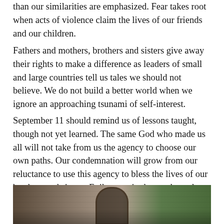than our similarities are emphasized. Fear takes root when acts of violence claim the lives of our friends and our children.
Fathers and mothers, brothers and sisters give away their rights to make a difference as leaders of small and large countries tell us tales we should not believe. We do not build a better world when we ignore an approaching tsunami of self-interest.
September 11 should remind us of lessons taught, though not yet learned. The same God who made us all will not take from us the agency to choose our own paths. Our condemnation will grow from our reluctance to use this agency to bless the lives of our brothers and sisters. Evil grows in the cracks and crags of our own cowardice when we do not rise up to condemn and combat its growing influence.
[Figure (photo): A photograph showing a stone building with an arched doorway or entrance, with green foliage/trees visible on the right side.]